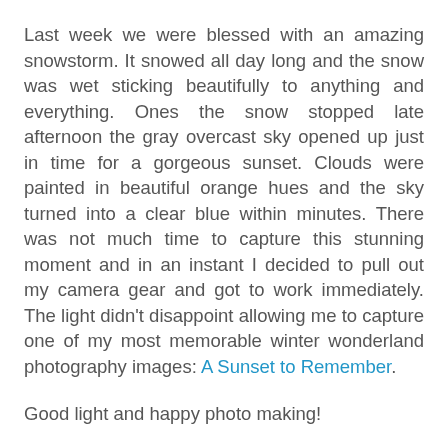Last week we were blessed with an amazing snowstorm. It snowed all day long and the snow was wet sticking beautifully to anything and everything. Ones the snow stopped late afternoon the gray overcast sky opened up just in time for a gorgeous sunset. Clouds were painted in beautiful orange hues and the sky turned into a clear blue within minutes. There was not much time to capture this stunning moment and in an instant I decided to pull out my camera gear and got to work immediately. The light didn't disappoint allowing me to capture one of my most memorable winter wonderland photography images: A Sunset to Remember.
Good light and happy photo making!
Juergen
Buy a Print